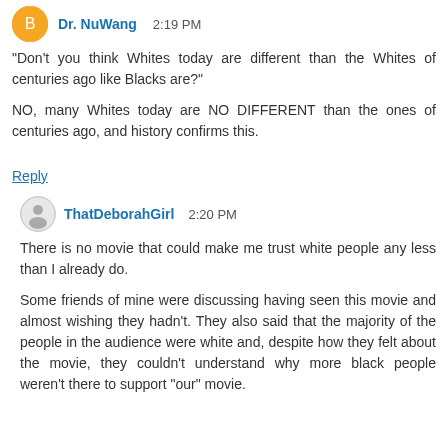Dr. NuWang 2:19 PM
"Don't you think Whites today are different than the Whites of centuries ago like Blacks are?"
NO, many Whites today are NO DIFFERENT than the ones of centuries ago, and history confirms this.
Reply
ThatDeborahGirl 2:20 PM
There is no movie that could make me trust white people any less than I already do.
Some friends of mine were discussing having seen this movie and almost wishing they hadn't. They also said that the majority of the people in the audience were white and, despite how they felt about the movie, they couldn't understand why more black people weren't there to support "our" movie.